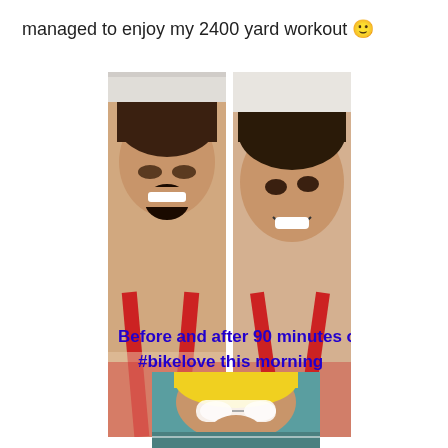managed to enjoy my 2400 yard workout 🙂
[Figure (photo): Two side-by-side selfie photos of a woman wearing a red and white swimsuit. Left photo: woman grimacing/exhausted with mouth wide open. Right photo: same woman smiling happily. Overlaid blue bold text reads: 'Before and after 90 minutes of #bikelove this morning']
[Figure (photo): Partial photo of a person wearing a yellow swim cap and swim goggles, partially cropped at bottom of page.]